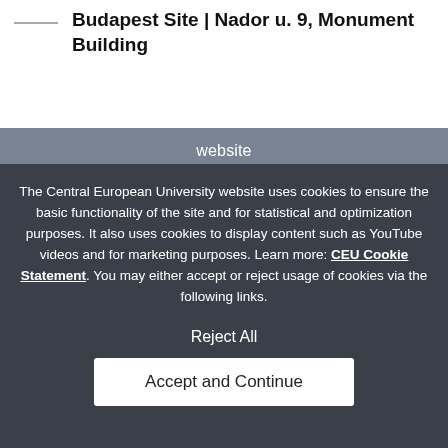Budapest Site | Nador u. 9, Monument Building
website
LOCATION
The Central European University website uses cookies to ensure the basic functionality of the site and for statistical and optimization purposes. It also uses cookies to display content such as YouTube videos and for marketing purposes. Learn more: CEU Cookie Statement. You may either accept or reject usage of cookies via the following links.
Reject All
Accept and Continue